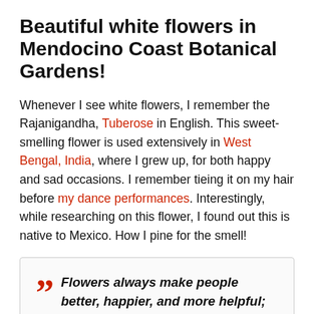Beautiful white flowers in Mendocino Coast Botanical Gardens!
Whenever I see white flowers, I remember the Rajanigandha, Tuberose in English. This sweet-smelling flower is used extensively in West Bengal, India, where I grew up, for both happy and sad occasions. I remember tieing it on my hair before my dance performances. Interestingly, while researching on this flower, I found out this is native to Mexico. How I pine for the smell!
Flowers always make people better, happier, and more helpful; they are sunshine, food, and medicine to the mind.